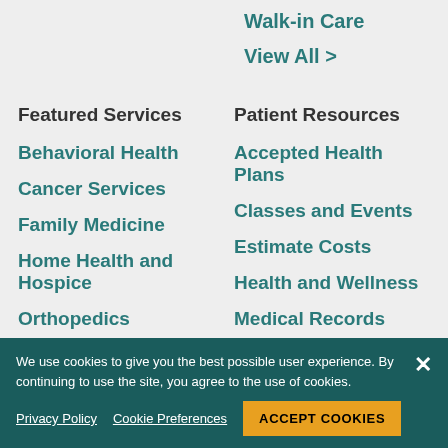Walk-in Care
View All >
Featured Services
Patient Resources
Behavioral Health
Accepted Health Plans
Cancer Services
Classes and Events
Family Medicine
Estimate Costs
Home Health and Hospice
Health and Wellness
Medical Records
Orthopedics
Medicare Advanta...
We use cookies to give you the best possible user experience. By continuing to use the site, you agree to the use of cookies.
Privacy Policy  Cookie Preferences  ACCEPT COOKIES